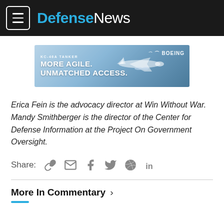DefenseNews
[Figure (infographic): Boeing KC-46A Tanker advertisement banner with text 'MORE AGILE. UNMATCHED ACCESS.' and a silhouette of the aircraft, Boeing logo in upper right.]
Erica Fein is the advocacy director at Win Without War. Mandy Smithberger is the director of the Center for Defense Information at the Project On Government Oversight.
Share: [link] [email] [facebook] [twitter] [reddit] [linkedin]
More In Commentary >